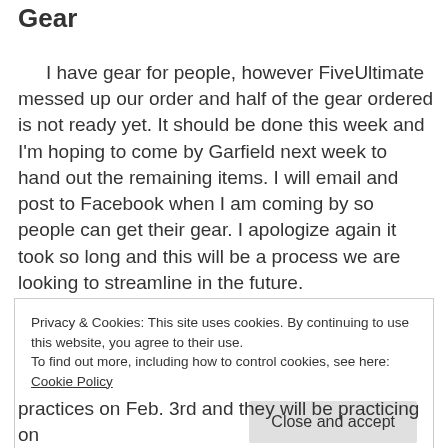Gear
I have gear for people, however FiveUltimate messed up our order and half of the gear ordered is not ready yet. It should be done this week and I'm hoping to come by Garfield next week to hand out the remaining items. I will email and post to Facebook when I am coming by so people can get their gear. I apologize again it took so long and this will be a process we are looking to streamline in the future.
Privacy & Cookies: This site uses cookies. By continuing to use this website, you agree to their use.
To find out more, including how to control cookies, see here: Cookie Policy
practices on Feb. 3rd and they will be practicing on